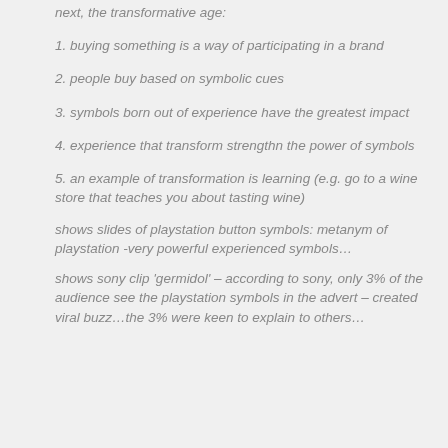next, the transformative age:
1. buying something is a way of participating in a brand
2. people buy based on symbolic cues
3. symbols born out of experience have the greatest impact
4. experience that transform strengthn the power of symbols
5. an example of transformation is learning (e.g. go to a wine store that teaches you about tasting wine)
shows slides of playstation button symbols: metanym of playstation -very powerful experienced symbols…
shows sony clip 'germidol' – according to sony, only 3% of the audience see the playstation symbols in the advert – created viral buzz…the 3% were keen to explain to others…